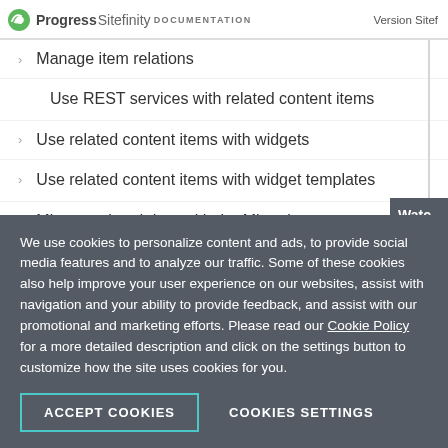Progress Sitefinity DOCUMENTATION | Version Sitef
Manage item relations
Use REST services with related content items
Use related content items with widgets
Use related content items with widget templates
Migrate related data with the Migration
We use cookies to personalize content and ads, to provide social media features and to analyze our traffic. Some of these cookies also help improve your user experience on our websites, assist with navigation and your ability to provide feedback, and assist with our promotional and marketing efforts. Please read our Cookie Policy for a more detailed description and click on the settings button to customize how the site uses cookies for you.
ACCEPT COOKIES | COOKIES SETTINGS